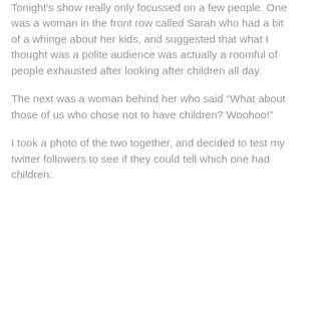Tonight's show really only focussed on a few people. One was a woman in the front row called Sarah who had a bit of a whinge about her kids, and suggested that what I thought was a polite audience was actually a roomful of people exhausted after looking after children all day.
The next was a woman behind her who said "What about those of us who chose not to have children? Woohoo!"
I took a photo of the two together, and decided to test my twitter followers to see if they could tell which one had children: